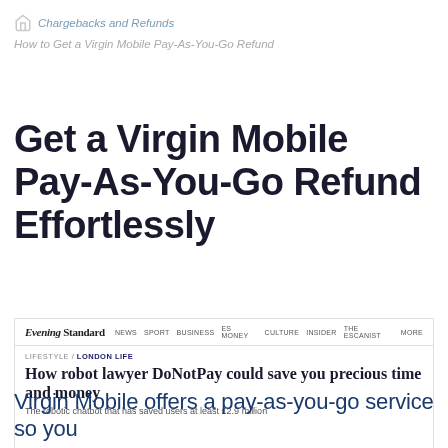Chargebacks and Refunds
How to Get a Virgin Mobile Pay-As-You-Go Refund
Get a Virgin Mobile Pay-As-You-Go Refund Effortlessly
[Figure (screenshot): Evening Standard newspaper website screenshot showing article: 'How robot lawyer DoNotPay could save you precious time and money' with subtitle 'The robotic chatbot that has saved users at least £2.9 million'. Navigation bar shows: Evening Standard logo, NEWS, SPORT, BUSINESS, ES MONEY, CULTURE, INSIDER, THE ESCANIST, MORE. Category shows LIFESTYLE / LONDON LIFE.]
Virgin Mobile offers a pay-as-you-go service so you